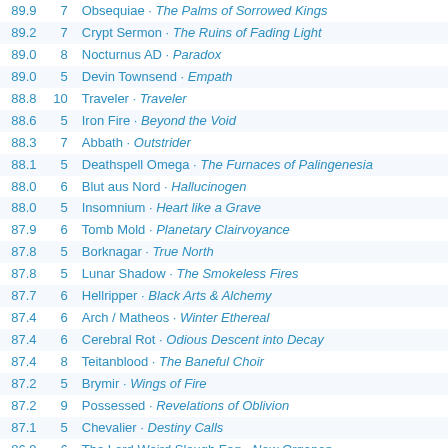| Score | Votes | Artist · Album |
| --- | --- | --- |
| 89.9 | 7 | Obsequiae · The Palms of Sorrowed Kings |
| 89.2 | 7 | Crypt Sermon · The Ruins of Fading Light |
| 89.0 | 8 | Nocturnus AD · Paradox |
| 89.0 | 5 | Devin Townsend · Empath |
| 88.8 | 10 | Traveler · Traveler |
| 88.6 | 5 | Iron Fire · Beyond the Void |
| 88.3 | 7 | Abbath · Outstrider |
| 88.1 | 5 | Deathspell Omega · The Furnaces of Palingenesia |
| 88.0 | 6 | Blut aus Nord · Hallucinogen |
| 88.0 | 5 | Insomnium · Heart like a Grave |
| 87.9 | 6 | Tomb Mold · Planetary Clairvoyance |
| 87.8 | 5 | Borknagar · True North |
| 87.8 | 5 | Lunar Shadow · The Smokeless Fires |
| 87.7 | 6 | Hellripper · Black Arts & Alchemy |
| 87.4 | 6 | Arch / Matheos · Winter Ethereal |
| 87.4 | 6 | Cerebral Rot · Odious Descent into Decay |
| 87.4 | 8 | Teitanblood · The Baneful Choir |
| 87.2 | 5 | Brymir · Wings of Fire |
| 87.2 | 9 | Possessed · Revelations of Oblivion |
| 87.1 | 5 | Chevalier · Destiny Calls |
| 86.9 | 6 | The Lord Weird Slough Feg · New Organon |
| 86.9 | 4 | Misþyrming · Algleymi |
| 86.7 | 9 | Mayhem · Daemon |
| 86.7 | 4 | Vircolac · Masque |
| 86.5 | 13 | Cattle Decapitation · Death Atlas |
| 86.4 | 4 | Mirror · Pyramid of Terror |
| 86.4 | 9 | Gloryhammer · Legends from Beyond the Galactic Terrorvortex |